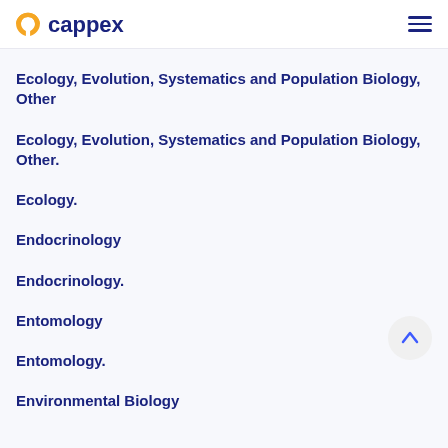cappex
Ecology, Evolution, Systematics and Population Biology, Other
Ecology, Evolution, Systematics and Population Biology, Other.
Ecology.
Endocrinology
Endocrinology.
Entomology
Entomology.
Environmental Biology